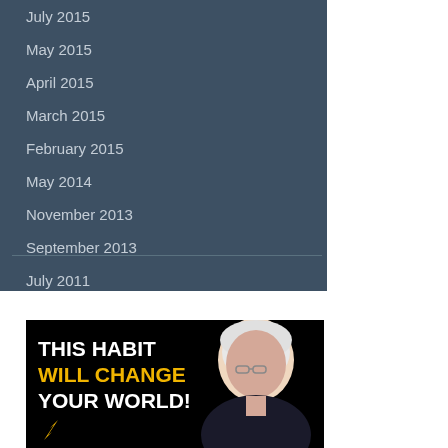July 2015
May 2015
April 2015
March 2015
February 2015
May 2014
November 2013
September 2013
July 2011
[Figure (illustration): Motivational banner advertisement with text 'THIS HABIT WILL CHANGE YOUR WORLD!' on a black background with an image of a white-haired man in glasses.]